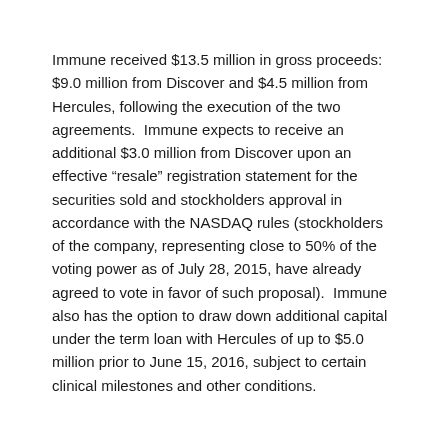Immune received $13.5 million in gross proceeds: $9.0 million from Discover and $4.5 million from Hercules, following the execution of the two agreements.  Immune expects to receive an additional $3.0 million from Discover upon an effective “resale” registration statement for the securities sold and stockholders approval in accordance with the NASDAQ rules (stockholders of the company, representing close to 50% of the voting power as of July 28, 2015, have already agreed to vote in favor of such proposal).  Immune also has the option to draw down additional capital under the term loan with Hercules of up to $5.0 million prior to June 15, 2016, subject to certain clinical milestones and other conditions.